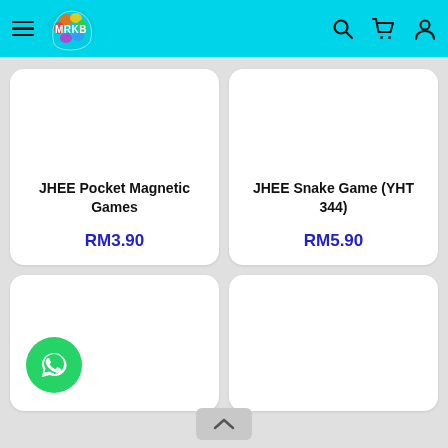MRKB shop header with hamburger menu, logo, search, cart, and user icons
JHEE Pocket Magnetic Games
RM3.90
JHEE Snake Game (YHT 344)
RM5.90
[Figure (screenshot): Partial product cards in bottom row with WhatsApp chat button overlay]